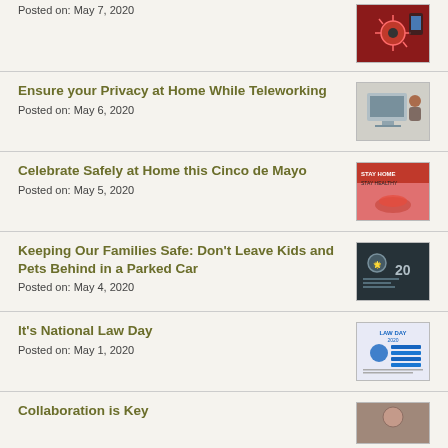Posted on: May 7, 2020
Ensure your Privacy at Home While Teleworking
Posted on: May 6, 2020
Celebrate Safely at Home this Cinco de Mayo
Posted on: May 5, 2020
Keeping Our Families Safe: Don't Leave Kids and Pets Behind in a Parked Car
Posted on: May 4, 2020
It's National Law Day
Posted on: May 1, 2020
Collaboration is Key